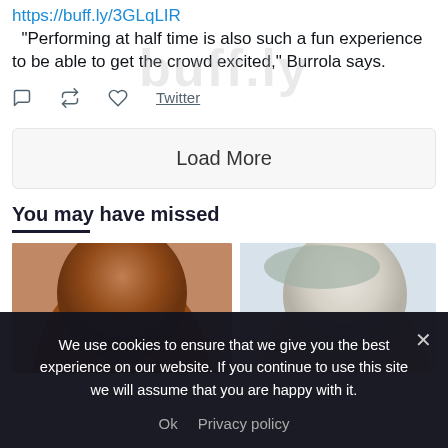https://buff.ly/3GLqLIR
“Performing at half time is also such a fun experience to be able to get the crowd excited,” Burrola says.
Twitter
Load More
You may have missed
[Figure (photo): Photo of a bald Black man, left side of a two-photo row]
[Figure (photo): Photo of a light-haired white man, right side of a two-photo row]
We use cookies to ensure that we give you the best experience on our website. If you continue to use this site we will assume that you are happy with it.
Ok  Privacy policy